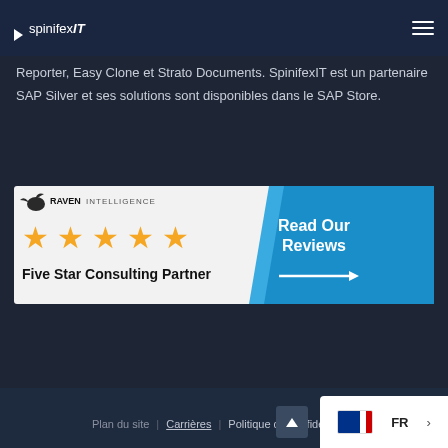spinifexIT
Reporter, Easy Clone et Strato Documents. SpinifexIT est un partenaire SAP Silver et ses solutions sont disponibles dans le SAP Store.
[Figure (illustration): Raven Intelligence banner showing five gold stars and text 'Five Star Consulting Partner' with a blue panel saying 'Read Our Reviews' and an arrow.]
Plan du site | Carrières | Politique de confidentialité